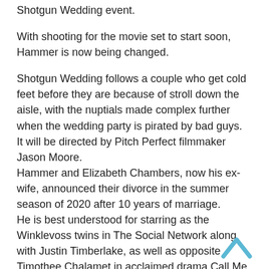Shotgun Wedding event.
With shooting for the movie set to start soon, Hammer is now being changed.
Shotgun Wedding follows a couple who get cold feet before they are because of stroll down the aisle, with the nuptials made complex further when the wedding party is pirated by bad guys.
It will be directed by Pitch Perfect filmmaker Jason Moore.
Hammer and Elizabeth Chambers, now his ex-wife, announced their divorce in the summer season of 2020 after 10 years of marriage.
He is best understood for starring as the Winklevoss twins in The Social Network along with Justin Timberlake, as well as opposite Timothee Chalamet in acclaimed drama Call Me By Your Name.
[Figure (other): Blue upward-pointing chevron/caret icon at bottom right]